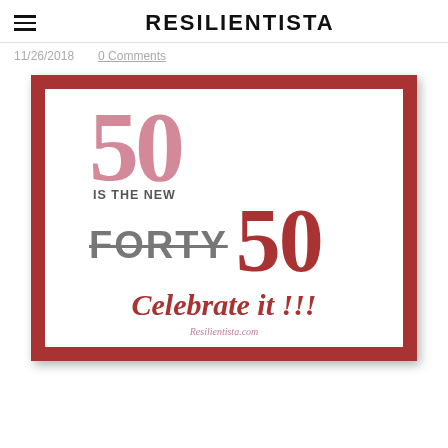RESILIENTISTA
11/26/2018   0 Comments
[Figure (illustration): A birthday card graphic with a dark red border and white interior. Large pink '50' at top, then 'IS THE NEW', then 'FORTY' struck through in gray next to a large red '50', then 'Celebrate it !!!' in red, and 'Resilientista.com' in pink at the bottom.]